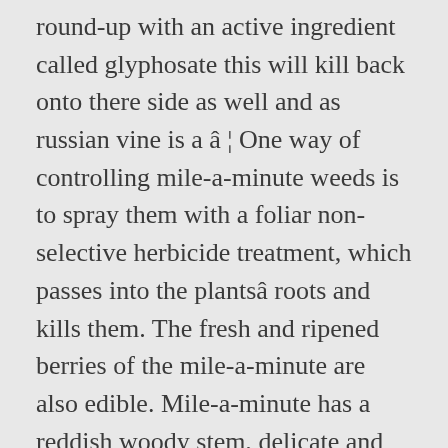round-up with an active ingredient called glyphosate this will kill back onto there side as well and as russian vine is a â ¦ One way of controlling mile-a-minute weeds is to spray them with a foliar non-selective herbicide treatment, which passes into the plantsâ roots and kills them. The fresh and ripened berries of the mile-a-minute are also edible. Mile-a-minute has a reddish woody stem, delicate and highly branched up to 20 ft. tall. The best time to kill it is in early fall as soon as temperatures begin to drop, when plants are most susceptible to systemic herbicide damage. Quoting: This weed is a particular threat to forest regeneration (Stanosz and Jackson, 1991). Each generation needs one month. To